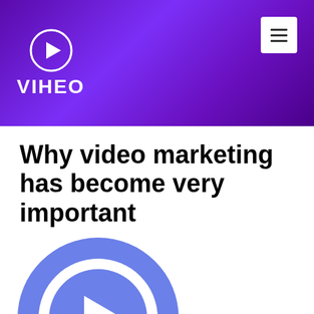VIHEO
Why video marketing has become very important
[Figure (illustration): Large blue play button icon — a blue circle with a white ring and a white triangle (play arrow) in the center]